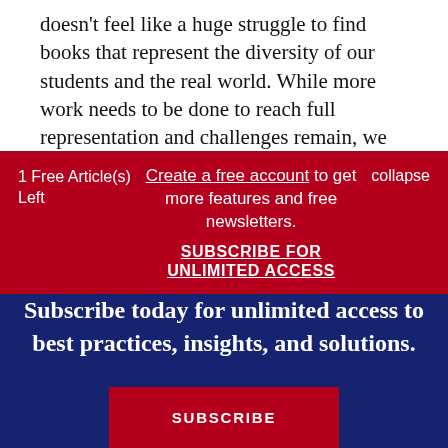doesn't feel like a huge struggle to find books that represent the diversity of our students and the real world. While more work needs to be done to reach full representation and challenges remain, we are moving forward in a notable
1 Free Article(s) Left
Create a free account to get more features and free newsletters.
SUBSCRIBE FOR UNLIMITED ACCESS
collapse
Subscribe today for unlimited access to best practices, insights, and solutions.
SUBSCRIBE